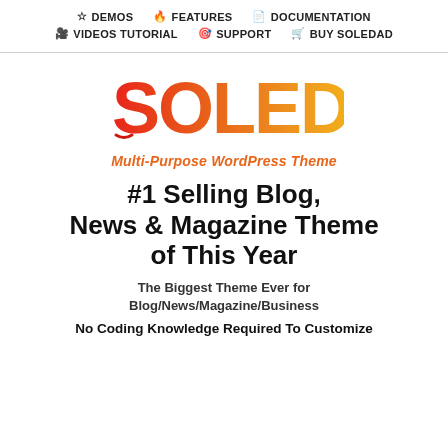☆ DEMOS  🔥 FEATURES  📄 DOCUMENTATION  🎥 VIDEOS TUTORIAL  🎯 SUPPORT  🛒 BUY SOLEDAD
[Figure (logo): SOLEDAD logo with gradient text from red to yellow, stylized S character]
Multi-Purpose WordPress Theme
#1 Selling Blog, News & Magazine Theme of This Year
The Biggest Theme Ever for Blog/News/Magazine/Business
No Coding Knowledge Required To Customize